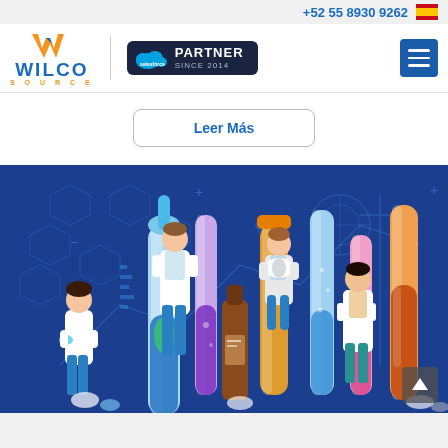+52 55 8930 9262
[Figure (logo): Wilco Source logo with orange W icon and blue text, next to Salesforce Partner Since 2014 badge, and hamburger menu icon]
Leer Más
[Figure (illustration): Pharmaceutical/science illustration on dark blue background featuring lab scientists in white coats holding and interacting with large test tubes, flasks, and pill bottles of various colors including blue, purple, orange, and amber. Background shows molecular/chemistry diagrams and symbols.]